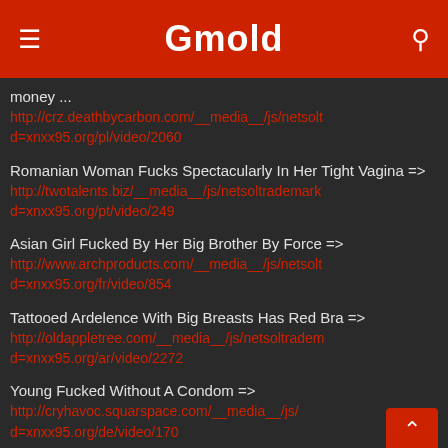Gmold
money... http://crz.deathbycarbon.com/__media__/js/netsoltd=xnxx95.org/pl/video/2060
Romanian Woman Fucks Spectacularly In Her Tight Vagina => http://twotalents.biz/__media__/js/netsoltrademark d=xnxx95.org/pt/video/249
Asian Girl Fucked By Her Big Brother By Force => http://www.archproducts.com/__media__/js/netsoltd=xnxx95.org/fr/video/854
Tattooed Ardelence With Big Breasts Has Red Bra => http://oldappletree.com/__media__/js/netsoltrademd=xnxx95.org/ar/video/2272
Young Fucked Without A Condom => http://cryhavoc.squarspace.com/__media__/js/d=xnxx95.org/de/video/170